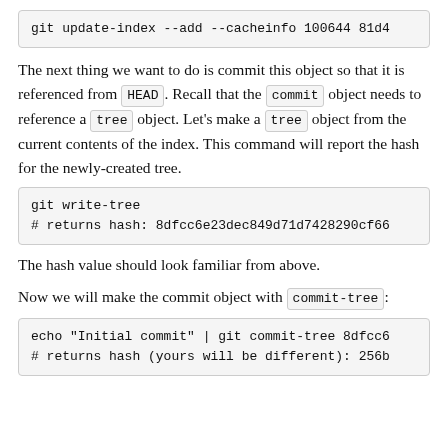git update-index --add --cacheinfo 100644 81d4
The next thing we want to do is commit this object so that it is referenced from HEAD. Recall that the commit object needs to reference a tree object. Let's make a tree object from the current contents of the index. This command will report the hash for the newly-created tree.
git write-tree
# returns hash: 8dfcc6e23dec849d71d7428290cf66
The hash value should look familiar from above.
Now we will make the commit object with commit-tree:
echo "Initial commit" | git commit-tree 8dfcc6
# returns hash (yours will be different): 256b